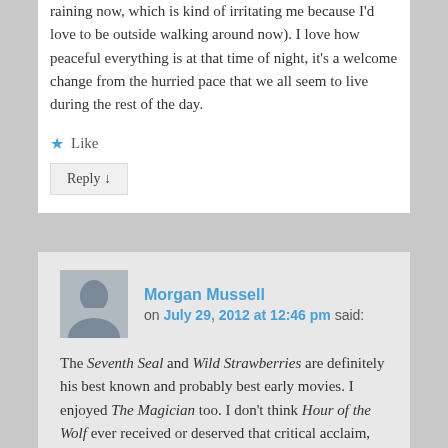raining now, which is kind of irritating me because I'd love to be outside walking around now). I love how peaceful everything is at that time of night, it's a welcome change from the hurried pace that we all seem to live during the rest of the day.
★ Like
Reply ↓
Morgan Mussell on July 29, 2012 at 12:46 pm said:
The Seventh Seal and Wild Strawberries are definitely his best known and probably best early movies. I enjoyed The Magician too. I don't think Hour of the Wolf ever received or deserved that critical acclaim, though interestingly, it's the one of his films that gets tagged with the "horror" genre.